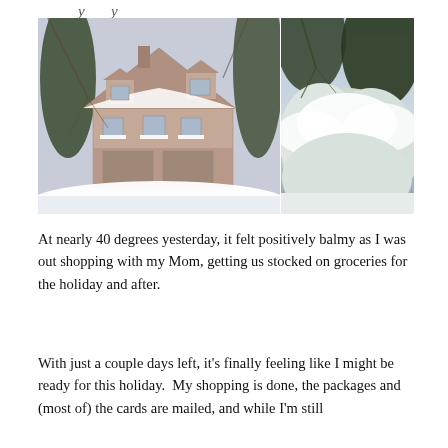y     y
[Figure (photo): Two winter photos side by side: left shows a snow-covered house with trees, right shows snow-covered evergreen trees with a pale sky]
At nearly 40 degrees yesterday, it felt positively balmy as I was out shopping with my Mom, getting us stocked on groceries for the holiday and after.
With just a couple days left, it's finally feeling like I might be ready for this holiday.  My shopping is done, the packages and (most of) the cards are mailed, and while I'm still